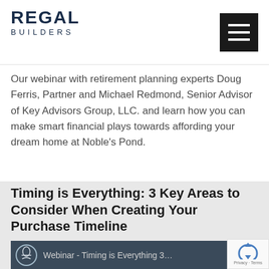REGAL BUILDERS
Our webinar with retirement planning experts Doug Ferris, Partner and Michael Redmond, Senior Advisor of Key Advisors Group, LLC. and learn how you can make smart financial plays towards affording your dream home at Noble's Pond.
Timing is Everything: 3 Key Areas to Consider When Creating Your Purchase Timeline
[Figure (screenshot): Video thumbnail strip showing a webinar titled 'Webinar - Timing is Everything 3...' with a circular icon on a dark gray background]